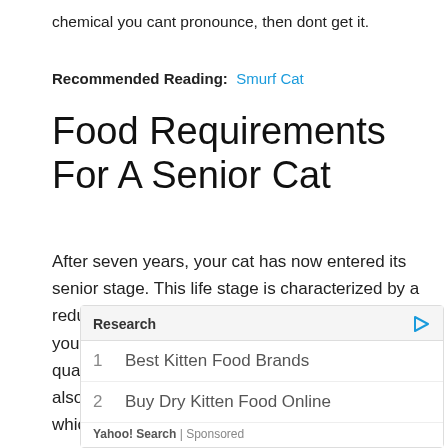chemical you cant pronounce, then dont get it.
Recommended Reading: Smurf Cat
Food Requirements For A Senior Cat
After seven years, your cat has now entered its senior stage. This life stage is characterized by a reduced metabolism and lower activity levels, so your cat will need smaller, tasty meals with high quality protein, fewer calories, and less fat. It may also experience dental problems by this time, which requires wet food thats easy to digest
|  | Research |
| --- | --- |
| 1 | Best Kitten Food Brands |
| 2 | Buy Dry Kitten Food Online |
Yahoo! Search | Sponsored